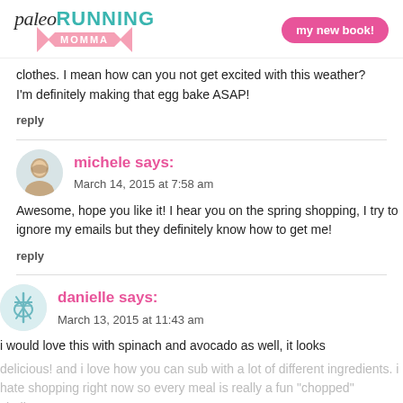paleo RUNNING MOMMA | my new book!
clothes. I mean how can you not get excited with this weather? I'm definitely making that egg bake ASAP!
reply
michele says: March 14, 2015 at 7:58 am
Awesome, hope you like it! I hear you on the spring shopping, I try to ignore my emails but they definitely know how to get me!
reply
danielle says: March 13, 2015 at 11:43 am
i would love this with spinach and avocado as well, it looks delicious! and i love how you can sub with a lot of different ingredients. i hate shopping right now so every meal is really a fun "chopped" challenge. LOL